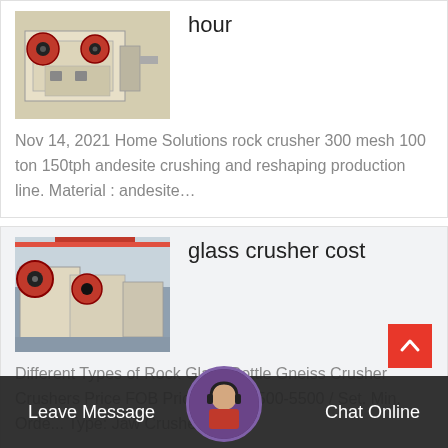[Figure (photo): Industrial rock crusher machine with red and beige components]
hour
Nov 14, 2021 Home Solutions rock crusher 300 mesh 100 ton 150tph andesite crushing and reshaping production line. Material : andesite…
[Figure (photo): Industrial jaw crusher machines in a factory setting]
glass crusher cost
Different Types of Rock Glass Bottle Gneiss Crusher Crushers Price FOB Price: US $ 4500-5500 / Set. Min. Order: Type: Jaw Crusher...
Leave Message   Chat Online